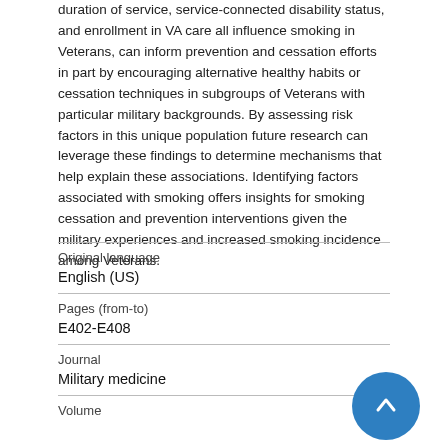duration of service, service-connected disability status, and enrollment in VA care all influence smoking in Veterans, can inform prevention and cessation efforts in part by encouraging alternative healthy habits or cessation techniques in subgroups of Veterans with particular military backgrounds. By assessing risk factors in this unique population future research can leverage these findings to determine mechanisms that help explain these associations. Identifying factors associated with smoking offers insights for smoking cessation and prevention interventions given the military experiences and increased smoking incidence among Veterans.
| Field | Value |
| --- | --- |
| Original language | English (US) |
| Pages (from-to) | E402-E408 |
| Journal | Military medicine |
| Volume |  |